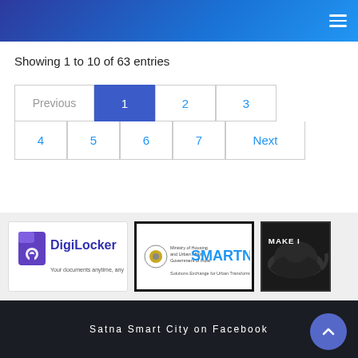Satna Smart City – Navigation header with hamburger menu
Showing 1 to 10 of 63 entries
[Figure (infographic): Pagination control with buttons: Previous, 1 (active/highlighted), 2, 3, 4, 5, 6, 7, Next]
[Figure (logo): DigiLocker logo – Your documents anytime, anywhere]
[Figure (logo): SMARTNET logo – Ministry of Housing and Urban Affairs, Government of India – Solutions Exchange for Urban Transformation of India]
[Figure (logo): Make in India logo – black panther on dark background with text MAKE I(n India)]
Satna Smart City on Facebook